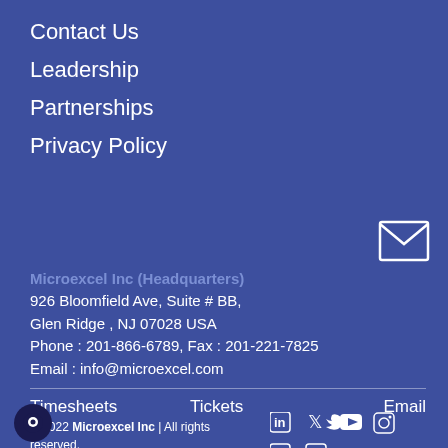Contact Us
Leadership
Partnerships
Privacy Policy
[Figure (illustration): Envelope/email icon outline in white]
Microexcel Inc (Headquarters)
926 Bloomfield Ave, Suite # BB,
Glen Ridge , NJ 07028 USA
Phone : 201-866-6789, Fax : 201-221-7825
Email : info@microexcel.com
Timesheets
Tickets
Email
© 2022 Microexcel Inc | All rights reserved.
[Figure (illustration): Social media icons: LinkedIn, Twitter, YouTube, Instagram, Duolingo-style, Facebook]